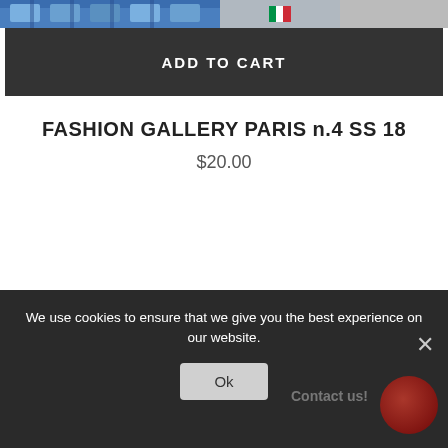[Figure (screenshot): Top image bar showing a fashion gallery thumbnail on the left and a small flag icon on the right]
ADD TO CART
FASHION GALLERY PARIS n.4 SS 18
$20.00
We use cookies to ensure that we give you the best experience on our website.
Ok